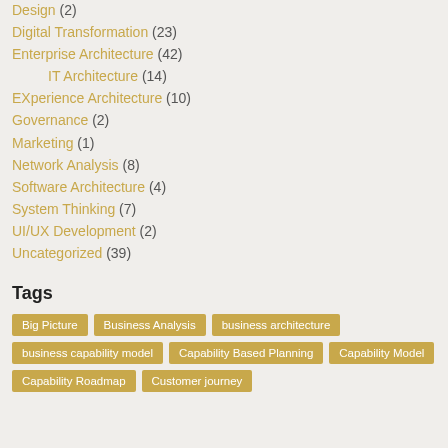Design (2)
Digital Transformation (23)
Enterprise Architecture (42)
IT Architecture (14)
EXperience Architecture (10)
Governance (2)
Marketing (1)
Network Analysis (8)
Software Architecture (4)
System Thinking (7)
UI/UX Development (2)
Uncategorized (39)
Tags
Big Picture | Business Analysis | business architecture | business capability model | Capability Based Planning | Capability Model | Capability Roadmap | Customer journey